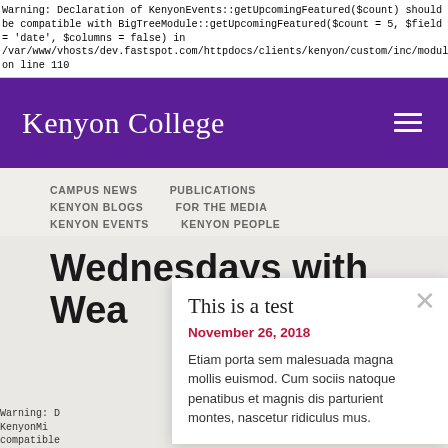Warning: Declaration of KenyonEvents::getUpcomingFeatured($count) should be compatible with BigTreeModule::getUpcomingFeatured($count = 5, $field = 'date', $columns = false) in /var/www/vhosts/dev.fastspot.com/httpdocs/clients/kenyon/custom/inc/modules/even on line 110
[Figure (logo): Kenyon College purple header with logo text and hamburger menu icon]
CAMPUS NEWS
PUBLICATIONS
KENYON BLOGS
FOR THE MEDIA
KENYON EVENTS
KENYON PEOPLE
Wednesdays with Wea
This is a test
November 26, 2018
Etiam porta sem malesuada magna mollis euismod. Cum sociis natoque penatibus et magnis dis parturient montes, nascetur ridiculus mus.
Warning: D KenyonMi compatible